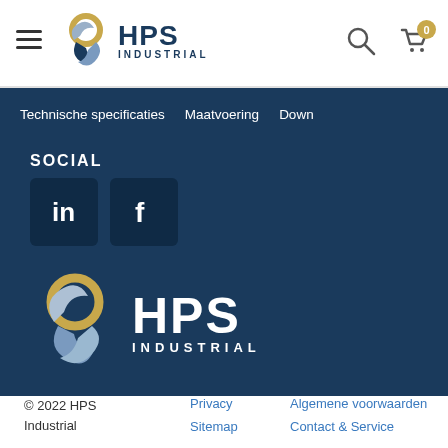[Figure (logo): HPS Industrial logo in header navigation bar with hamburger menu, search and cart icons]
Technische specificaties  Maatvoering  Down
SOCIAL
[Figure (logo): LinkedIn icon button (dark blue square with 'in')]
[Figure (logo): Facebook icon button (dark blue square with 'f')]
[Figure (logo): HPS Industrial white logo in dark blue footer area]
© 2022 HPS Industrial  Privacy  Sitemap  Algemene voorwaarden  Contact & Service